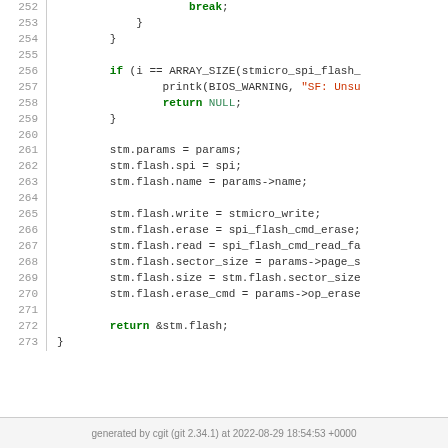[Figure (screenshot): Source code listing (C language) with line numbers 252–273, showing end of a flash driver function with syntax highlighting: keywords in green bold, string in red, identifiers in dark gray.]
generated by cgit (git 2.34.1) at 2022-08-29 18:54:53 +0000